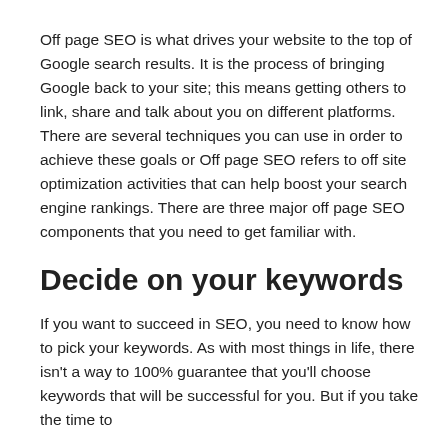Off page SEO is what drives your website to the top of Google search results. It is the process of bringing Google back to your site; this means getting others to link, share and talk about you on different platforms. There are several techniques you can use in order to achieve these goals or Off page SEO refers to off site optimization activities that can help boost your search engine rankings. There are three major off page SEO components that you need to get familiar with.
Decide on your keywords
If you want to succeed in SEO, you need to know how to pick your keywords. As with most things in life, there isn't a way to 100% guarantee that you'll choose keywords that will be successful for you. But if you take the time to